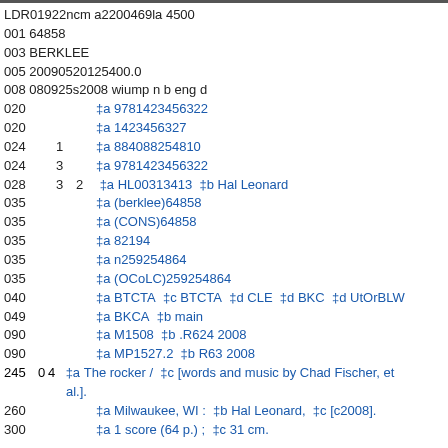LDR01922ncm a2200469la 4500
001 64858
003 BERKLEE
005 20090520125400.0
008 080925s2008 wiump n b eng d
020    ‡a 9781423456322
020    ‡a 1423456327
024 1  ‡a 884088254810
024 3  ‡a 9781423456322
028 3 2  ‡a HL00313413  ‡b Hal Leonard
035    ‡a (berklee)64858
035    ‡a (CONS)64858
035    ‡a 82194
035    ‡a n259254864
035    ‡a (OCoLC)259254864
040    ‡a BTCTA  ‡c BTCTA  ‡d CLE  ‡d BKC  ‡d UtOrBLW
049    ‡a BKCA  ‡b main
090    ‡a M1508  ‡b .R624 2008
090    ‡a MP1527.2  ‡b R63 2008
245 0 4  ‡a The rocker /  ‡c [words and music by Chad Fischer, et al.].
260    ‡a Milwaukee, WI :  ‡b Hal Leonard,  ‡c [c2008].
300    ‡a 1 score (64 p.) ;  ‡c 31 cm.